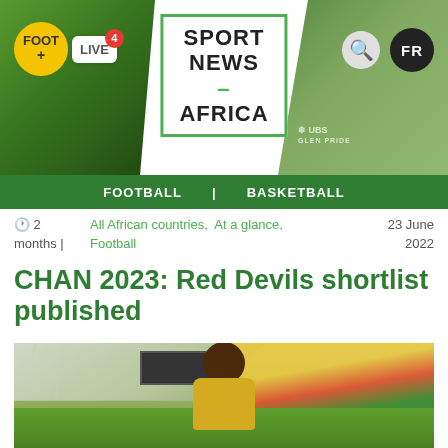Sport News Africa — FOOT+ LIVE 4 | FR | FOOTBALL | BASKETBALL
2 months | All African countries, At a glance, Football 23 June 2022
CHAN 2023: Red Devils shortlist published
[Figure (photo): Man standing on the pitch inside a large African football stadium with colourful seats in the background]